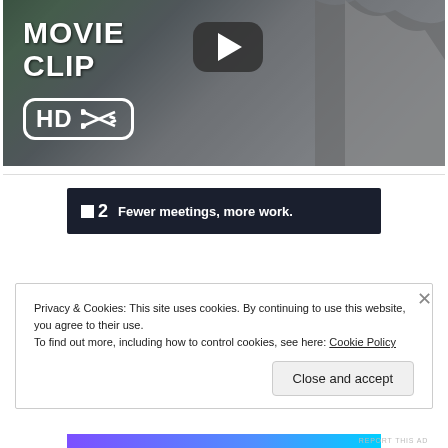[Figure (screenshot): Movie clip thumbnail showing a large monster (Godzilla) with 'MOVIE CLIP' text, HD badge with scissors icon, and YouTube play button overlay]
[Figure (screenshot): Advertisement banner: dark navy background with Taskade logo (P2) and tagline 'Fewer meetings, more work.']
REPORT THIS AD
Privacy & Cookies: This site uses cookies. By continuing to use this website, you agree to their use.
To find out more, including how to control cookies, see here: Cookie Policy
Close and accept